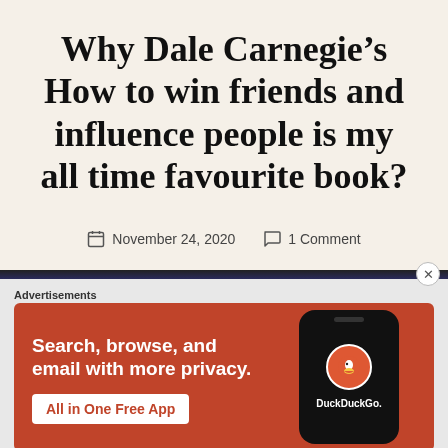Why Dale Carnegie’s How to win friends and influence people is my all time favourite book?
November 24, 2020   1 Comment
[Figure (screenshot): DuckDuckGo advertisement banner with orange/red background showing 'Search, browse, and email with more privacy. All in One Free App' with a phone mockup and DuckDuckGo logo]